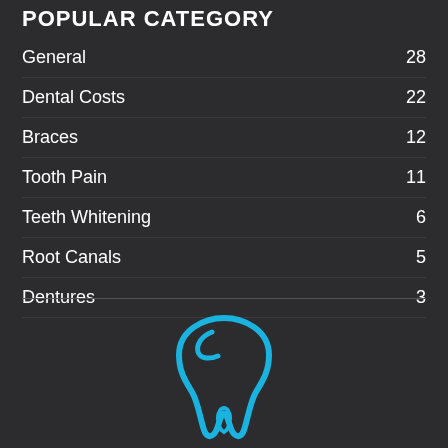POPULAR CATEGORY
General  28
Dental Costs  22
Braces  12
Tooth Pain  11
Teeth Whitening  6
Root Canals  5
Dentures  3
[Figure (logo): Blue tooth/dental logo icon — stylized tooth outline in cyan/blue color]